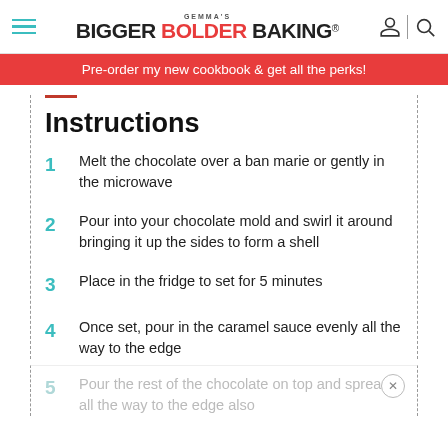GEMMA'S BIGGER BOLDER BAKING®
Pre-order my new cookbook & get all the perks!
Instructions
1 Melt the chocolate over a ban marie or gently in the microwave
2 Pour into your chocolate mold and swirl it around bringing it up the sides to form a shell
3 Place in the fridge to set for 5 minutes
4 Once set, pour in the caramel sauce evenly all the way to the edge
5 Pour the rest of the chocolate on top and spread it all the way to the edge also